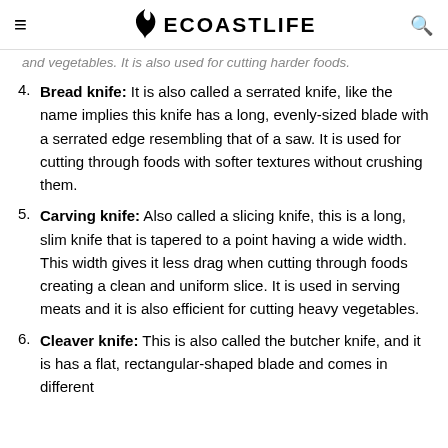≡ ECOASTLIFE 🔍
and vegetables. It is also used for cutting harder foods.
4. Bread knife: It is also called a serrated knife, like the name implies this knife has a long, evenly-sized blade with a serrated edge resembling that of a saw. It is used for cutting through foods with softer textures without crushing them.
5. Carving knife: Also called a slicing knife, this is a long, slim knife that is tapered to a point having a wide width. This width gives it less drag when cutting through foods creating a clean and uniform slice. It is used in serving meats and it is also efficient for cutting heavy vegetables.
6. Cleaver knife: This is also called the butcher knife, and it is has a flat, rectangular-shaped blade and comes in different